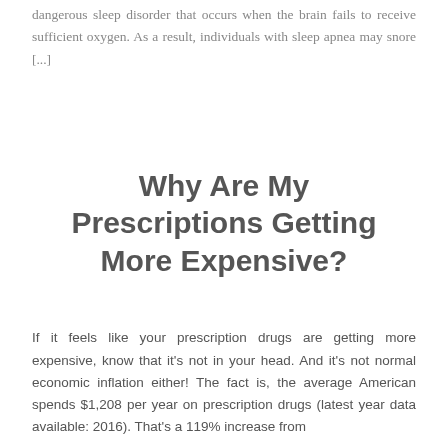dangerous sleep disorder that occurs when the brain fails to receive sufficient oxygen. As a result, individuals with sleep apnea may snore [...]
Why Are My Prescriptions Getting More Expensive?
If it feels like your prescription drugs are getting more expensive, know that it's not in your head. And it's not normal economic inflation either! The fact is, the average American spends $1,208 per year on prescription drugs (latest year data available: 2016). That's a 119% increase from